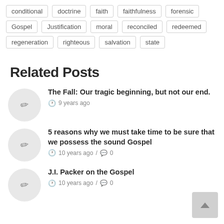conditional
doctrine
faith
faithfulness
forensic
Gospel
Justification
moral
reconciled
redeemed
regeneration
righteous
salvation
state
Related Posts
The Fall: Our tragic beginning, but not our end. 9 years ago
5 reasons why we must take time to be sure that we possess the sound Gospel 10 years ago / 0
J.I. Packer on the Gospel 10 years ago / 0